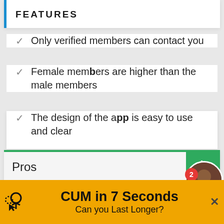FEATURES
Only verified members can contact you
Female members are higher than the male members
The design of the app is easy to use and clear
Pros
[Figure (infographic): Green thumbs-up icon button with red notification badge showing 2, and a circular avatar photo with green online indicator]
CUM in 7 Seconds
Can you Last Longer?